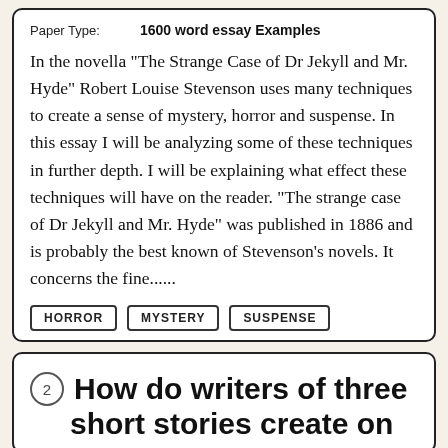Paper Type: 1600 word essay Examples
In the novella "The Strange Case of Dr Jekyll and Mr. Hyde" Robert Louise Stevenson uses many techniques to create a sense of mystery, horror and suspense. In this essay I will be analyzing some of these techniques in further depth. I will be explaining what effect these techniques will have on the reader. "The strange case of Dr Jekyll and Mr. Hyde" was published in 1886 and is probably the best known of Stevenson's novels. It concerns the fine......
HORROR
MYSTERY
SUSPENSE
2 How do writers of three short stories create on